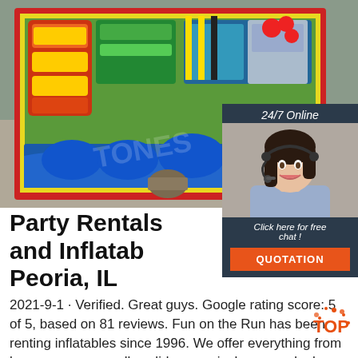[Figure (photo): Aerial view of large colorful inflatable obstacle course and bounce houses on pavement, with watermark text partially visible]
[Figure (photo): 24/7 Online chat widget showing a smiling woman with headset, dark background, with 'Click here for free chat!' text and orange QUOTATION button]
Party Rentals and Inflatables Peoria, IL
[Figure (logo): TOP badge logo in orange/red with star accents]
2021-9-1 · Verified. Great guys. Google rating score: 5 of 5, based on 81 reviews. Fun on the Run has been renting inflatables since 1996. We offer everything from bouncers, moonwalks, slides, carnival games, dunk tanks, photo booths and much more! Prices for all attractions include